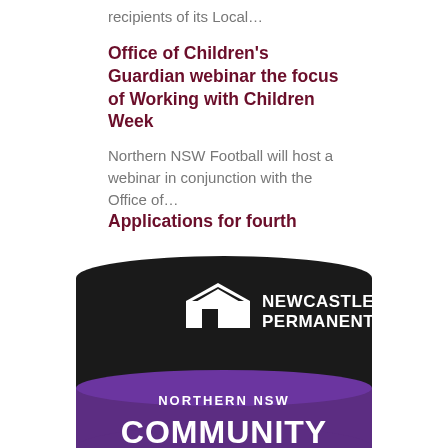recipients of its Local…
Office of Children's Guardian webinar the focus of Working with Children Week
Northern NSW Football will host a webinar in conjunction with the Office of…
Applications for fourth round of NNSW Facilities Fund now open
Applications for the fourth round of Northern NSW Football's Facilities Fund…
[Figure (photo): Newcastle Permanent Northern NSW Community trophy/cup logo with dark background showing a trophy with Newcastle Permanent branding and purple 'Northern NSW Community' text]